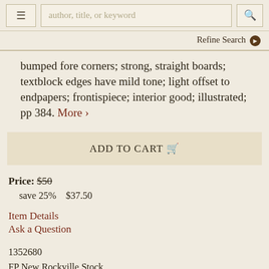author, title, or keyword | Refine Search
bumped fore corners; strong, straight boards; textblock edges have mild tone; light offset to endpapers; frontispiece; interior good; illustrated; pp 384. More >
ADD TO CART
Price: $50  save 25%  $37.50
Item Details
Ask a Question
1352680
FP New Rockville Stock